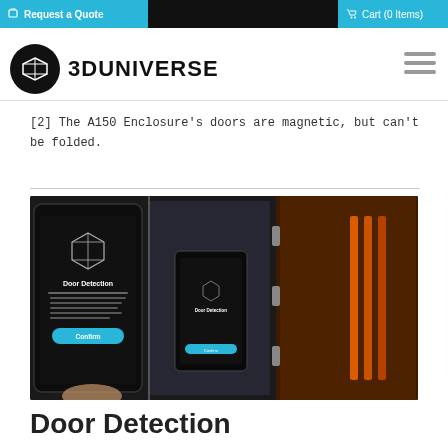Request a Quote  Cart (0 Items)
[Figure (logo): 3D Universe logo: black circle with white 3D cube icon, followed by bold text '3DUNIVERSE']
[2] The A150 Enclosure's doors are magnetic, but can't be folded.
[Figure (photo): Photo showing a smartphone displaying a 'Door Detection' screen with a confirm button, next to a 3D printer enclosure with open glass doors and an orange interior.]
Door Detection